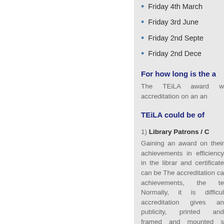Friday 4th March
Friday 3rd June
Friday 2nd September
Friday 2nd December
For how long is the a
The TEiLA award w accreditation on an an
TEiLA could be of
1) Library Patrons / C
Gaining an award on their achievements in efficiency in the librar and certificate can be The accreditation ca achievements, the te Normally, it is difficul accreditation gives an publicity, printed and framed and mounted s service.